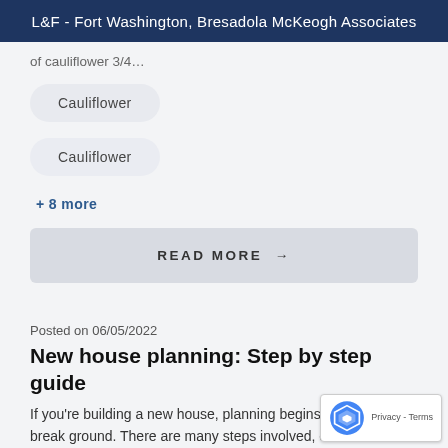L&F - Fort Washington, Bresadola McKeogh Associates
of cauliflower 3/4…
Cauliflower
Cauliflower
+ 8 more
READ MORE →
Posted on 06/05/2022
New house planning: Step by step guide
If you're building a new house, planning begins long b you break ground. There are many steps involved, ea with the potential for either hindering or enhancing your